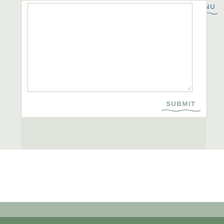[Figure (screenshot): A web form interface showing a textarea input box with resize handle, a SUBMIT button with wavy underline decoration, and a MENU navigation link with wavy underline in the top right corner. The layout has a light gray background with a white card area containing the form elements. Below the card is a gray section. The bottom of the page shows a sage/olive green footer bar.]
MENU
SUBMIT